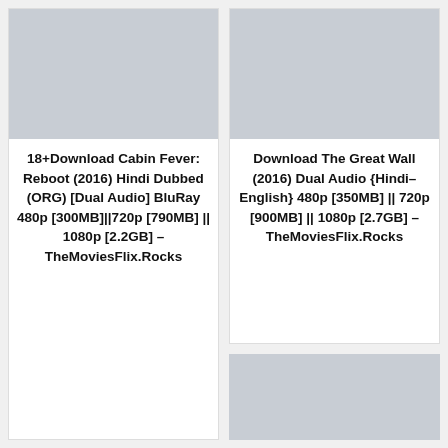[Figure (other): Gray placeholder image, left card top]
18+Download Cabin Fever: Reboot (2016) Hindi Dubbed (ORG) [Dual Audio] BluRay 480p [300MB]||720p [790MB] || 1080p [2.2GB] – TheMoviesFlix.Rocks
[Figure (other): Gray placeholder image, right card top]
Download The Great Wall (2016) Dual Audio {Hindi–English} 480p [350MB] || 720p [900MB] || 1080p [2.7GB] – TheMoviesFlix.Rocks
[Figure (other): Gray placeholder image, bottom right]